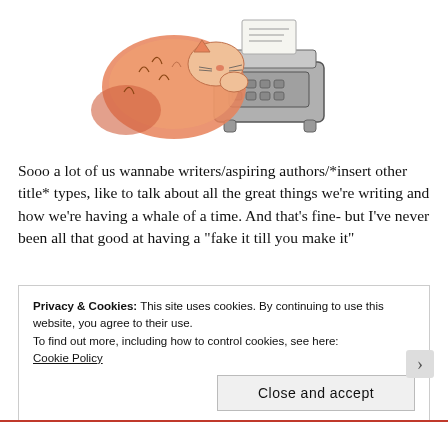[Figure (illustration): Watercolor illustration of a fluffy orange and white cat leaning over and typing on a vintage grey typewriter, with a sheet of paper coming out of the top.]
Sooo a lot of us wannabe writers/aspiring authors/*insert other title* types, like to talk about all the great things we're writing and how we're having a whale of a time. And that's fine- but I've never been all that good at having a “fake it till you make it”
Privacy & Cookies: This site uses cookies. By continuing to use this website, you agree to their use.
To find out more, including how to control cookies, see here:
Cookie Policy
Close and accept